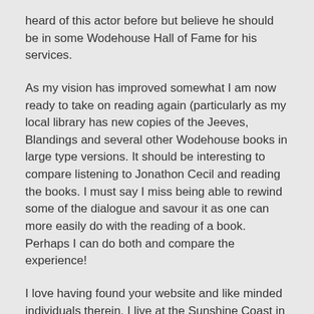heard of this actor before but believe he should be in some Wodehouse Hall of Fame for his services.
As my vision has improved somewhat I am now ready to take on reading again (particularly as my local library has new copies of the Jeeves, Blandings and several other Wodehouse books in large type versions. It should be interesting to compare listening to Jonathon Cecil and reading the books. I must say I miss being able to rewind some of the dialogue and savour it as one can more easily do with the reading of a book. Perhaps I can do both and compare the experience!
I love having found your website and like minded individuals therein. I live at the Sunshine Coast in Australia and was disappointed to learn there was no Wodehouse group locally. Keep up the good work HP.